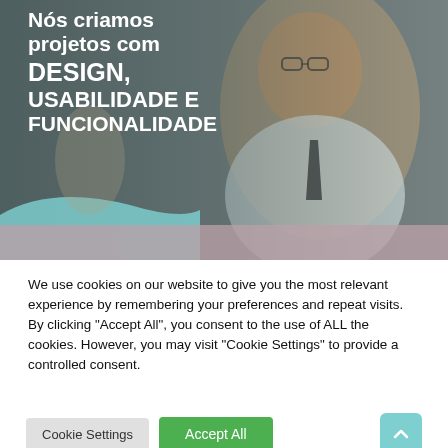[Figure (photo): Hero banner showing a smiling man with glasses wearing a white shirt and dark tie, with blurred colleagues in the background. Dark semi-transparent overlay on the left side. A teal wave shape at the bottom left and a muted mauve/rose bar at the very bottom.]
Nós criamos projetos com DESIGN, USABILIDADE E FUNCIONALIDADE
We use cookies on our website to give you the most relevant experience by remembering your preferences and repeat visits. By clicking "Accept All", you consent to the use of ALL the cookies. However, you may visit "Cookie Settings" to provide a controlled consent.